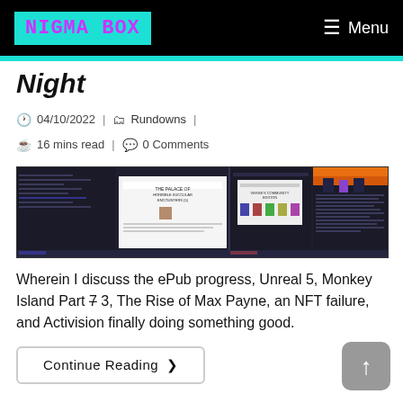NIGMA BOX | Menu
Night
04/10/2022 | Rundowns | 16 mins read | 0 Comments
[Figure (screenshot): Screenshot of a dark-themed text editor or IDE with multiple document panels open, showing article drafts including one about Monkey Island and another with pixel-art characters]
Wherein I discuss the ePub progress, Unreal 5, Monkey Island Part 7 3, The Rise of Max Payne, an NFT failure, and Activision finally doing something good.
Continue Reading ❯